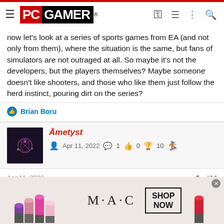PC GAMER
now let's look at a series of sports games from EA (and not only from them), where the situation is the same, but fans of simulators are not outraged at all. So maybe it's not the developers, but the players themselves? Maybe someone doesn't like shooters, and those who like them just follow the herd instinct, pouring dirt on the series?
Brian Boru
Āmetyst
Apr 11, 2022  1  0  10
Apr 11, 2022  #14
ghosts solo (only my opinion)
[Figure (photo): MAC lipstick advertisement banner with colorful lipsticks and MAC logo with SHOP NOW button]